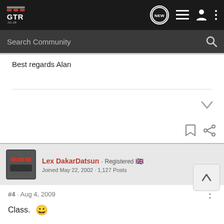GTR.co.uk — Navigation bar with logo, NEW chat button, list icon, user icon, menu icon
Search Community
Best regards Alan
Lex DakarDatsun · Registered 🇬🇧
Joined May 22, 2002 · 1,127 Posts
#4 · Aug 4, 2009
Class. 😀